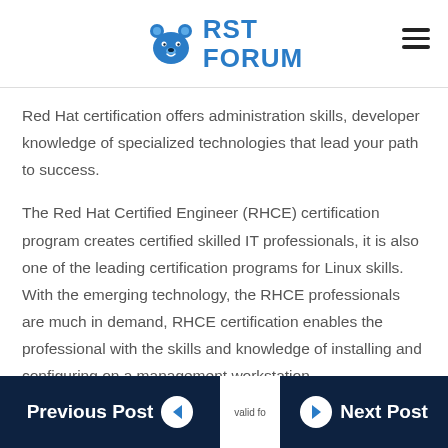RST FORUM
Red Hat certification offers administration skills, developer knowledge of specialized technologies that lead your path to success.
The Red Hat Certified Engineer (RHCE) certification program creates certified skilled IT professionals, it is also one of the leading certification programs for Linux skills.  With the emerging technology, the RHCE professionals are much in demand, RHCE certification enables the professional with the skills and knowledge of installing and configuring on a management workstation.
Previous Post   valid fo...   Next Post